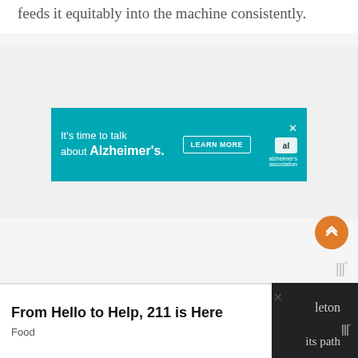feeds it equitably into the machine consistently.
[Figure (other): Teal/cyan advertisement banner for Alzheimer's Association reading 'It's time to talk about Alzheimer's.' with a 'LEARN MORE' button and Alzheimer's association logo with a close (X) button.]
[Figure (other): Orange circular scroll-to-top button with double chevron up arrow icon.]
[Figure (logo): WW degrees logo in gray text.]
[Figure (other): Bottom advertisement bar reading 'From Hello to Help, 211 is Here' with subtitle 'Food' on white background with a close X button.]
ex                                                                                its path